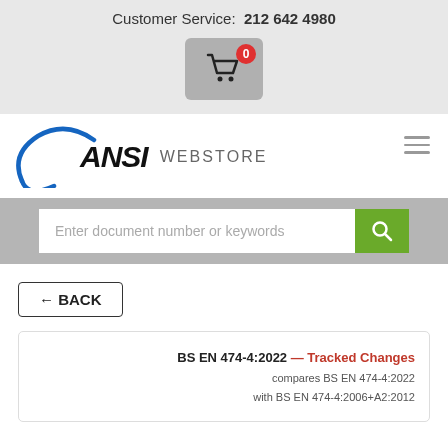Customer Service:  212 642 4980
[Figure (screenshot): Shopping cart icon button with red badge showing 0]
[Figure (logo): ANSI WEBSTORE logo with blue arc and hamburger menu]
[Figure (screenshot): Search bar with placeholder text 'Enter document number or keywords' and green search button]
← BACK
BS EN 474-4:2022 — Tracked Changes compares BS EN 474-4:2022 with BS EN 474-4:2006+A2:2012